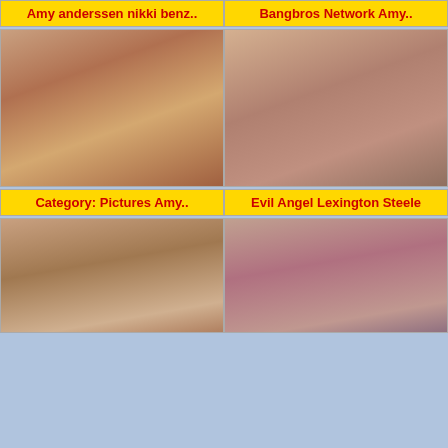Amy anderssen nikki benz..
Bangbros Network Amy..
[Figure (photo): Adult content photo left column middle]
[Figure (photo): Adult content photo right column middle]
Category: Pictures Amy..
Evil Angel Lexington Steele
[Figure (photo): Adult content photo left column bottom]
[Figure (photo): Adult content photo right column bottom]